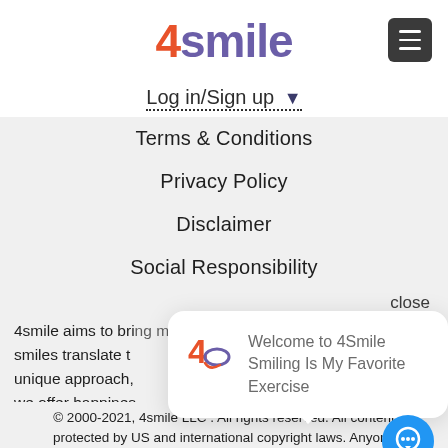[Figure (logo): 4smile logo with orange '4' and purple 'smile' text, and hamburger menu icon]
Log in/Sign up ▾
Terms & Conditions
Privacy Policy
Disclaimer
Social Responsibility
close
4smile aims to bring more smiles to the world because smiles translate to unique approach, we offer happiness company on the m
[Figure (screenshot): Chat popup with 4smile logo icon and text: Welcome to 4Smile Smiling Is My Favorite Exercise]
[Figure (illustration): Blue circular chat bubble button]
© 2000-2021, 4smile LLC . All rights reserved. All content protected by US and international copyright laws. Anyone